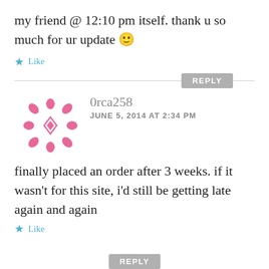my friend @ 12:10 pm itself. thank u so much for ur update 🙂
★ Like
[Figure (other): Reply button, gray rounded rectangle with white text REPLY]
[Figure (other): Pink decorative snowflake/flower avatar icon for user 0rca258]
0rca258
JUNE 5, 2014 AT 2:34 PM
finally placed an order after 3 weeks. if it wasn't for this site, i'd still be getting late again and again
★ Like
[Figure (other): Reply button partial, gray rounded rectangle]